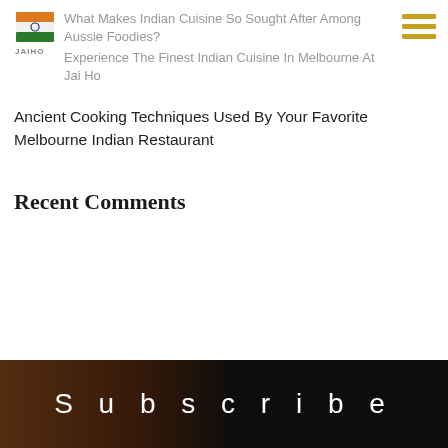[Figure (logo): Jai Ho Indian restaurant logo with Indian flag motif in orange, white and green, text 'JAIHO' below]
What Makes Indian Cuisine So Sought After Among Aussie Foodies?
Experience The Finest Indian Cuisine In Melbourne At Jai Ho
Ancient Cooking Techniques Used By Your Favorite Melbourne Indian Restaurant
Recent Comments
[Figure (photo): Dark image showing a fist bump or handshake with 'Subscribe' text overlaid in white letters on dark background]